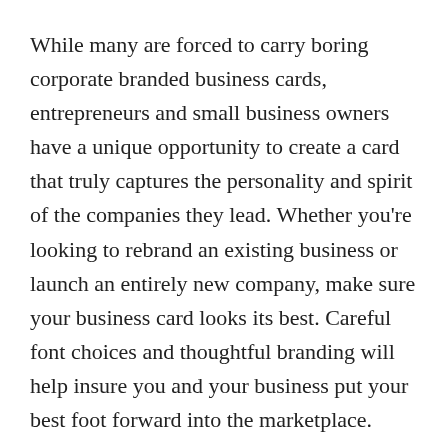While many are forced to carry boring corporate branded business cards, entrepreneurs and small business owners have a unique opportunity to create a card that truly captures the personality and spirit of the companies they lead. Whether you're looking to rebrand an existing business or launch an entirely new company, make sure your business card looks its best. Careful font choices and thoughtful branding will help insure you and your business put your best foot forward into the marketplace.
W tt b d t th